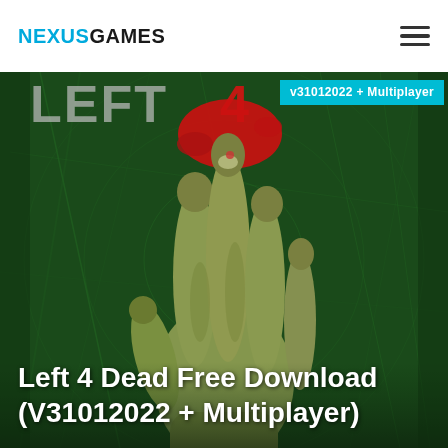NEXUSGAMES
[Figure (photo): Left 4 Dead game cover art showing a zombie hand reaching upward against a dark green scratched background with red blood splatter. Partial game logo visible at top.]
v31012022 + Multiplayer
Left 4 Dead Free Download (V31012022 + Multiplayer)